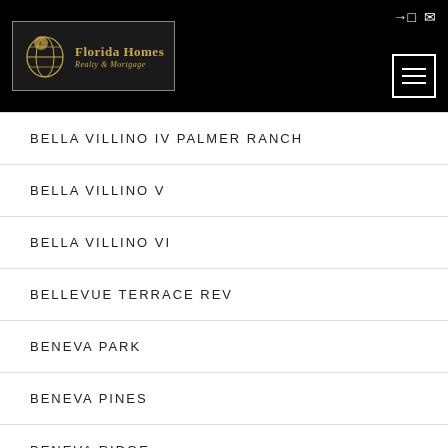[Figure (logo): Florida Homes Realty & Mortgage logo with globe icon on dark background]
BELLA VILLINO IV PALMER RANCH
BELLA VILLINO V
BELLA VILLINO VI
BELLEVUE TERRACE REV
BENEVA PARK
BENEVA PINES
BENEVA RIDGE